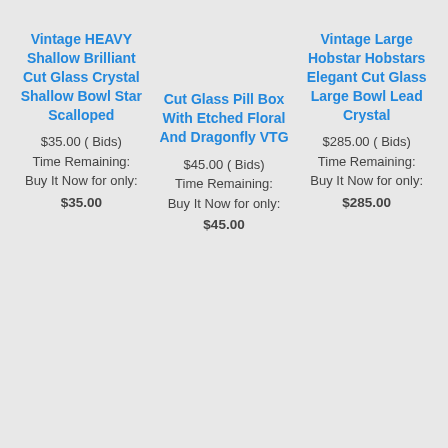Vintage HEAVY Shallow Brilliant Cut Glass Crystal Shallow Bowl Star Scalloped
$35.00 ( Bids)
Time Remaining:
Buy It Now for only:
$35.00
Cut Glass Pill Box With Etched Floral And Dragonfly VTG
$45.00 ( Bids)
Time Remaining:
Buy It Now for only:
$45.00
Vintage Large Hobstar Hobstars Elegant Cut Glass Large Bowl Lead Crystal
$285.00 ( Bids)
Time Remaining:
Buy It Now for only:
$285.00